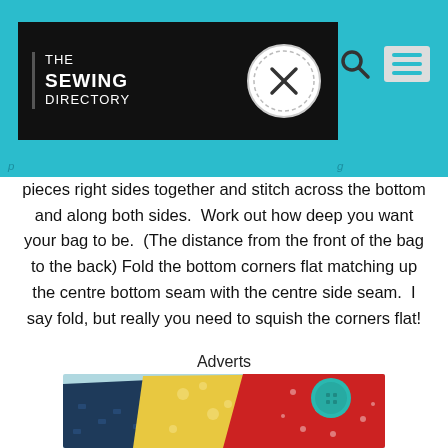THE SEWING DIRECTORY
pieces right sides together and stitch across the bottom and along both sides.  Work out how deep you want your bag to be.  (The distance from the front of the bag to the back) Fold the bottom corners flat matching up the centre bottom seam with the centre side seam.  I say fold, but really you need to squish the corners flat!
Adverts
[Figure (photo): Colorful folded fabric pieces in red, yellow, and light blue patterns with a teal button on top]